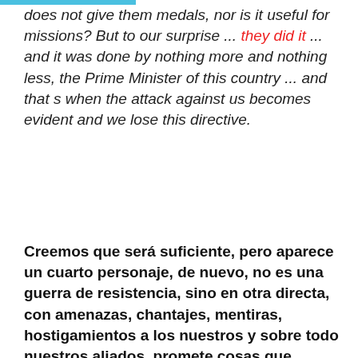does not give them medals, nor is it useful for missions? But to our surprise ... they did it ... and it was done by nothing more and nothing less, the Prime Minister of this country ... and that s when the attack against us becomes evident and we lose this directive.
Creemos que será suficiente, pero aparece un cuarto personaje, de nuevo, no es una guerra de resistencia, sino en otra directa, con amenazas, chantajes, mentiras, hostigamientos a los nuestros y sobre todo nuestros aliados, promete cosas que obviamente no puede cumplir, no porque no